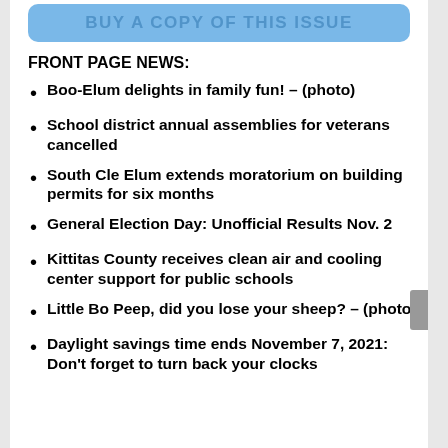[Figure (other): Blue rounded rectangle button with text BUY A COPY OF THIS ISSUE]
FRONT PAGE NEWS:
Boo-Elum delights in family fun! – (photo)
School district annual assemblies for veterans cancelled
South Cle Elum extends moratorium on building permits for six months
General Election Day: Unofficial Results Nov. 2
Kittitas County receives clean air and cooling center support for public schools
Little Bo Peep, did you lose your sheep? – (photo)
Daylight savings time ends November 7, 2021: Don't forget to turn back your clocks